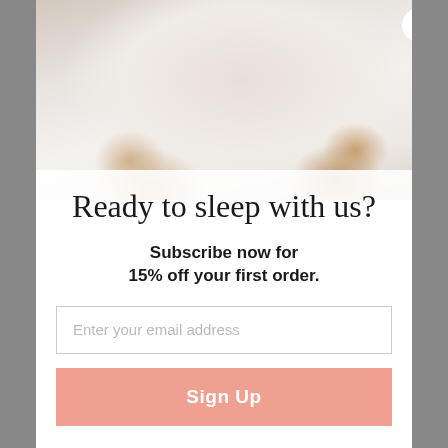[Figure (photo): Overhead view of a person's legs and feet on white bed sheets, suggesting sleep/bedding context]
Ready to sleep with us?
Subscribe now for 15% off your first order.
Enter your email address
Sign Up